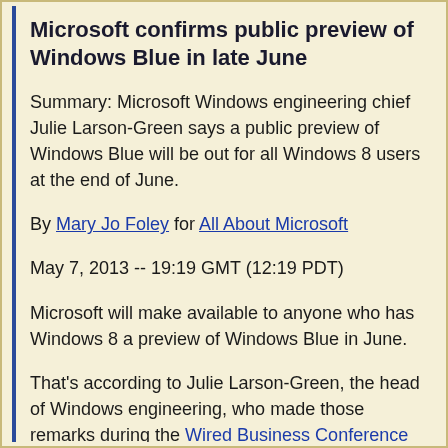Microsoft confirms public preview of Windows Blue in late June
Summary: Microsoft Windows engineering chief Julie Larson-Green says a public preview of Windows Blue will be out for all Windows 8 users at the end of June.
By Mary Jo Foley for All About Microsoft
May 7, 2013 -- 19:19 GMT (12:19 PDT)
Microsoft will make available to anyone who has Windows 8 a preview of Windows Blue in June.
That's according to Julie Larson-Green, the head of Windows engineering, who made those remarks during the Wired Business Conference on May 7.